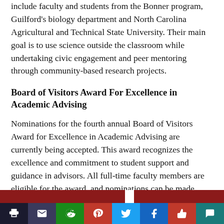include faculty and students from the Bonner program, Guilford's biology department and North Carolina Agricultural and Technical State University. Their main goal is to use science outside the classroom while undertaking civic engagement and peer mentoring through community-based research projects.
Board of Visitors Award For Excellence in Academic Advising
Nominations for the fourth annual Board of Visitors Award for Excellence in Academic Advising are currently being accepted. This award recognizes the excellence and commitment to student support and guidance in advisors. All full-time faculty members are eligible for the award, and nominations can be made from anyone in the Guilford community, including students, alumni and parents. Nominations may be submitted to the Dean's Office, King 101, or by email to Steve Shapiro by Mar. 13, at 5pm. On April 10, the award will be presented at the Spring Awards Ceremony.
[Figure (other): Social sharing toolbar with buttons: print, email, reddit, pinterest, twitter, facebook, like, comment]